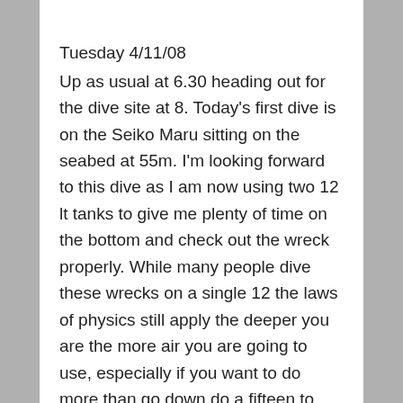Tuesday 4/11/08
Up as usual at 6.30 heading out for the dive site at 8. Today's first dive is on the Seiko Maru sitting on the seabed at 55m. I'm looking forward to this dive as I am now using two 12 lt tanks to give me plenty of time on the bottom and check out the wreck properly. While many people dive these wrecks on a single 12 the laws of physics still apply the deeper you are the more air you are going to use, especially if you want to do more than go down do a fifteen to twenty minute bottom time just to tick a box and say yeah I've done